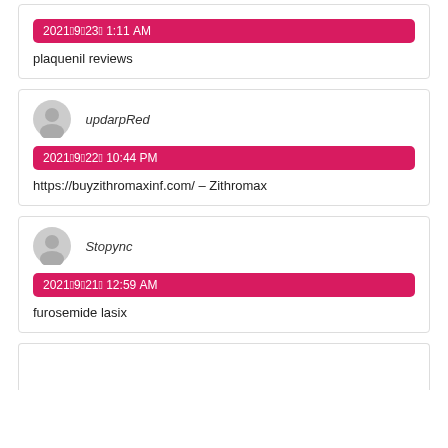2021年9月23日 1:11 AM
plaquenil reviews
updarpRed
2021年9月22日 10:44 PM
https://buyzithromaxinf.com/ – Zithromax
Stopync
2021年9月21日 12:59 AM
furosemide lasix